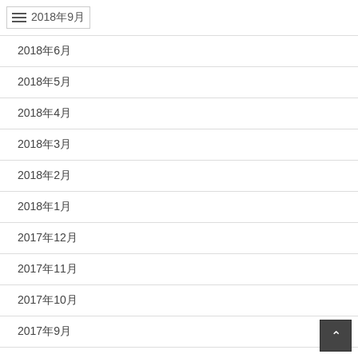2018年9月
2018年6月
2018年5月
2018年4月
2018年3月
2018年2月
2018年1月
2017年12月
2017年11月
2017年10月
2017年9月